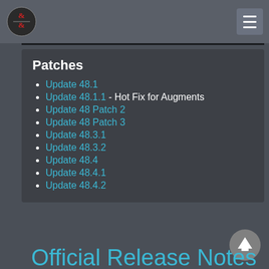Dungeons & Dragons wiki navigation header
Patches
Update 48.1
Update 48.1.1 - Hot Fix for Augments
Update 48 Patch 2
Update 48 Patch 3
Update 48.3.1
Update 48.3.2
Update 48.4
Update 48.4.1
Update 48.4.2
Fables of the Feywild Release Information
Official Release Notes